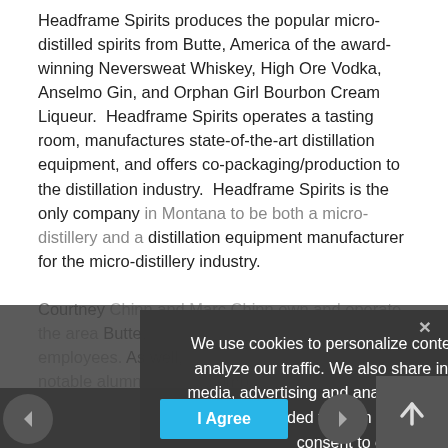Headframe Spirits produces the popular micro-distilled spirits from Butte, America of the award-winning Neversweat Whiskey, High Ore Vodka, Anselmo Gin, and Orphan Girl Bourbon Cream Liqueur.  Headframe Spirits operates a tasting room, manufactures state-of-the-art distillation equipment, and offers co-packaging/production to the distillation industry.  Headframe Spirits is the only company in Montana to be both a micro-distillery and a distillation equipment manufacturer for the micro-distillery industry. Courtney Chinn and Marc Chinn own and operate the area Butte, Montana-based company and its employees. As well, Marc is a Goldman Sachs notable alumnus. Also, companies recognized Courtney as a Young Entrepreneur who is also a member of the Montana Governor of Montana, and has been featured in Forbes, Huffington and Entrepreneur Magazine.
We use cookies to personalize content and ads, to provide social media features and to analyze our traffic. We also share information about your use of our site with our social media, advertising and analytics partners who may combine it with other information that you've provided to them or that they've collected from your use of their services. You consent to our cookies if you continue to use our website.
Privacy Preferences
I Agree